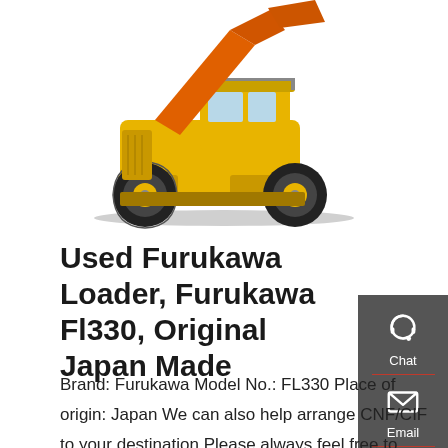[Figure (photo): Yellow Furukawa FL330 wheel loader with orange bucket arm raised, shown on white background]
Used Furukawa Loader, Furukawa Fl330, Original Japan Made
Brand: Furukawa Model No.: FL330 Place of origin: Japan We can also help arrange CNF/CIF to your destination.Please always feel free to contact with us for more information. In very good working condition and ready to ship! Company Contact: Contact Name: Max Sun Company Name: Shanghai Haihua Construction Machinery Co. Ltd. Email: Tel: +86-13601641950 Fax: Street ...